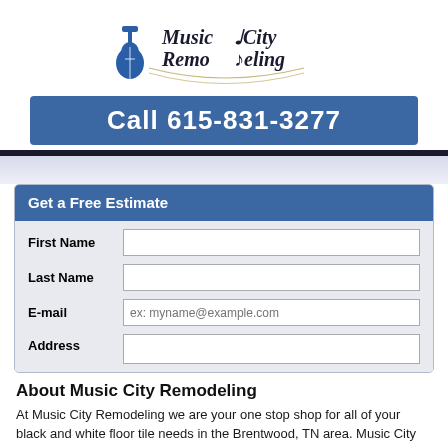[Figure (logo): Music City Remodeling logo with blue guitar icon and stylized text]
Call 615-831-3277
Get a Free Estimate
First Name
Last Name
E-mail
Address
About Music City Remodeling
At Music City Remodeling we are your one stop shop for all of your black and white floor tile needs in the Brentwood, TN area. Music City Remodeling has been in business since 2008 and has over 35 years of experience behind them. We have a dedicated and experienced team that cares about our customers, we hold the highest regard for quality work and craftsmanship. If you need assistance with black and white floor tile